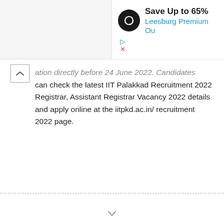[Figure (screenshot): Advertisement banner showing 'Save Up to 65% Leesburg Premium Ou...' with a dark circular logo containing an infinity/loop symbol, and small play and X icons below]
ation directly before 24 June 2022. Candidates can check the latest IIT Palakkad Recruitment 2022 Registrar, Assistant Registrar Vacancy 2022 details and apply online at the iitpkd.ac.in/ recruitment 2022 page.